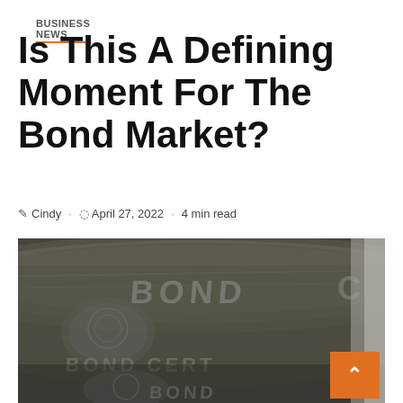BUSINESS NEWS
Is This A Defining Moment For The Bond Market?
Cindy · April 27, 2022 · 4 min read
[Figure (photo): Close-up photograph of rolled bond certificates with text 'BOND' and 'BOND CERT' visible on aged paper currency/certificate documents]